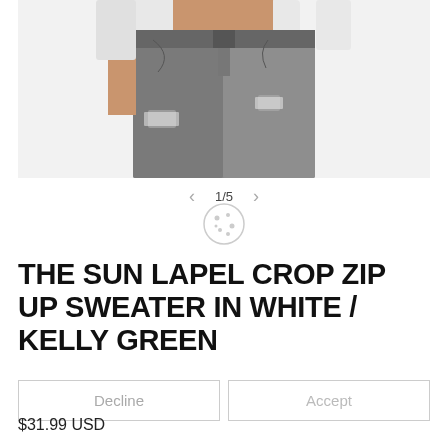[Figure (photo): A model wearing grey distressed skinny jeans and a white crop top, cropped from waist to upper thigh.]
1/5
[Figure (other): Cookie consent icon (cookie graphic)]
THE SUN LAPEL CROP ZIP UP SWEATER IN WHITE / KELLY GREEN
Decline
Accept
$31.99 USD